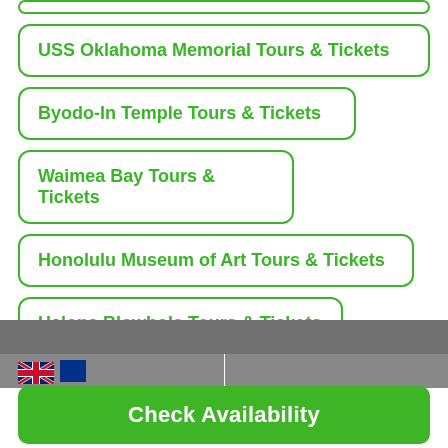USS Oklahoma Memorial Tours & Tickets
Byodo-In Temple Tours & Tickets
Waimea Bay Tours & Tickets
Honolulu Museum of Art Tours & Tickets
Halona Blowhole Tours & Tickets
Why you are seeing these recommendations
[Figure (screenshot): Gray footer bar with UK flag icon and blue flag icon on left, vertical divider in center]
Check Availability